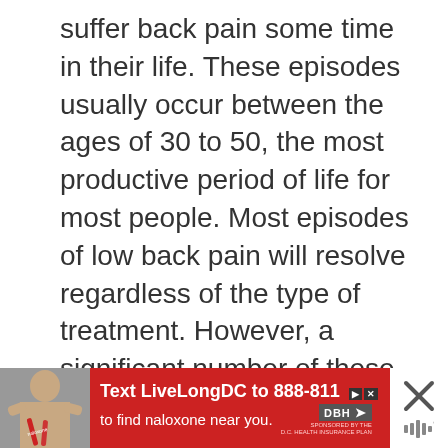suffer back pain some time in their life. These episodes usually occur between the ages of 30 to 50, the most productive period of life for most people. Most episodes of low back pain will resolve regardless of the type of treatment. However, a significant number of these episodes become chronic, meaning that they do not resolve. They continue to cause pain and dysfunction indefinitely. Back pain is a common chronic problem or many people, no matter what their occupation. There is no quick fix or total cure for most back problems.
[Figure (other): Advertisement banner at the bottom of the page. Red background ad saying 'Text LiveLongDC to 888-811 to find naloxone near you.' with DBH logo. Left side shows a partial photo of a person. Right side shows an X close button and speaker/menu icon.]